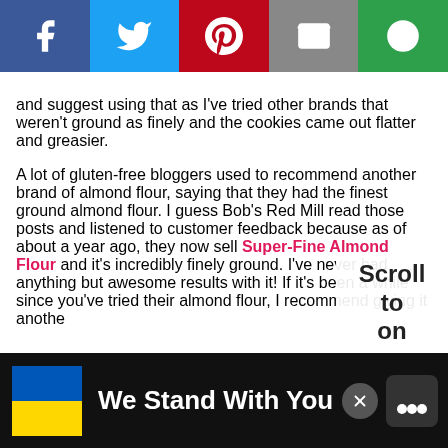[Figure (infographic): Social share bar with Facebook (blue), Twitter (light blue), Pinterest (red), Email (grey), and More (green) buttons]
and suggest using that as I've tried other brands that weren't ground as finely and the cookies came out flatter and greasier.

A lot of gluten-free bloggers used to recommend another brand of almond flour, saying that they had the finest ground almond flour. I guess Bob's Red Mill read those posts and listened to customer feedback because as of about a year ago, they now sell Super-Fine Almond Flour and it's incredibly finely ground. I've never had anything but awesome results with it! If it's been a while since you've tried their almond flour, I recommend giving it anothe
Scroll to on
[Figure (infographic): Advertisement banner: We Stand With You with Ukraine flag colors and CNN+ logo]